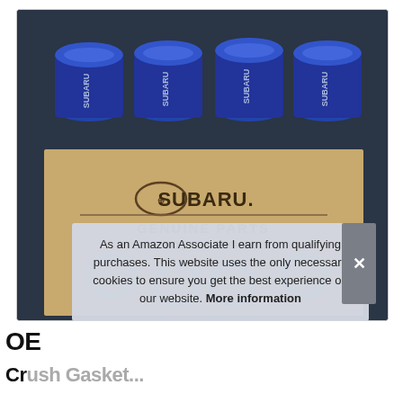[Figure (photo): Four Subaru OEM oil filters with blue plastic-wrapped tops, standing upright on a brown cardboard box printed with the Subaru star logo and text 'GENUINE PARTS FACTORY ORIGINAL'. In front of the box are four silver metal drain plug crush washers/gasket rings arranged in a row on a dark gray surface.]
OE
Crush Gasket...
As an Amazon Associate I earn from qualifying purchases. This website uses the only necessary cookies to ensure you get the best experience on our website. More information